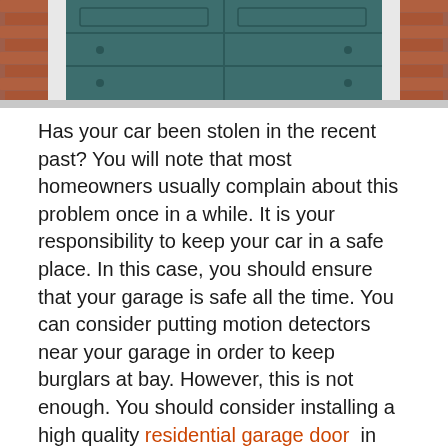[Figure (photo): Photo of a green/teal garage door with brick walls on either side, viewed from outside on a sidewalk.]
Has your car been stolen in the recent past? You will note that most homeowners usually complain about this problem once in a while. It is your responsibility to keep your car in a safe place. In this case, you should ensure that your garage is safe all the time. You can consider putting motion detectors near your garage in order to keep burglars at bay. However, this is not enough. You should consider installing a high quality residential garage door in your garage. This is a good way of keeping your garage safe. Who should install a residential garage door for you? You will note that there are many companies that offer these services. However, some of these companies usually